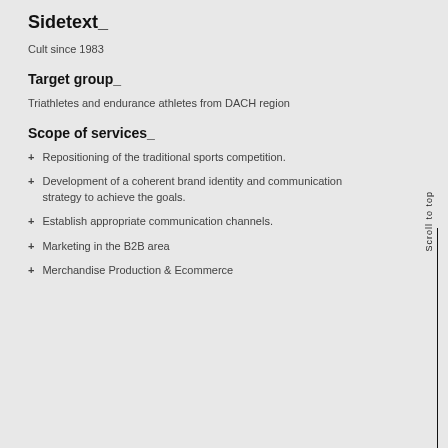Sidetext_
Cult since 1983
Target group_
Triathletes and endurance athletes from DACH region
Scope of services_
Repositioning of the traditional sports competition.
Development of a coherent brand identity and communication strategy to achieve the goals.
Establish appropriate communication channels.
Marketing in the B2B area
Merchandise Production & Ecommerce